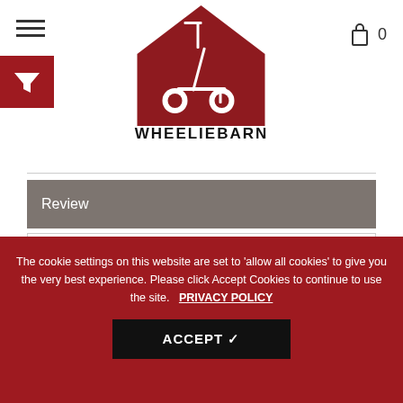[Figure (logo): WheeliBarn logo: red barn silhouette with a white scooter/kick-scooter inside, text WHEELIEBARN below in bold black capitals]
Review
The MotoTec Demon 50cc Kids Dirt Bike - The perfect kids starter dirt bike. The latest generation of 50cc mini bike engines are faster,
The cookie settings on this website are set to 'allow all cookies' to give you the very best experience. Please click Accept Cookies to continue to use the site. PRIVACY POLICY
ACCEPT ✔